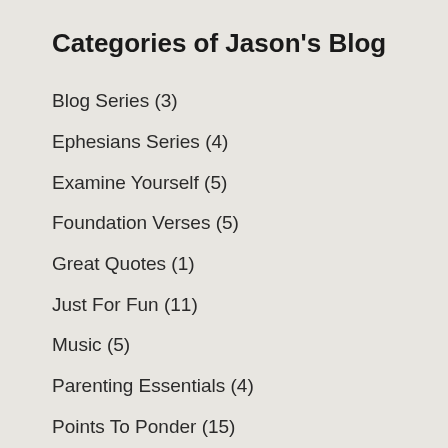Categories of Jason's Blog
Blog Series (3)
Ephesians Series (4)
Examine Yourself (5)
Foundation Verses (5)
Great Quotes (1)
Just For Fun (11)
Music (5)
Parenting Essentials (4)
Points To Ponder (15)
Proverbial Thought (1)
Quotes From My Reading (15)